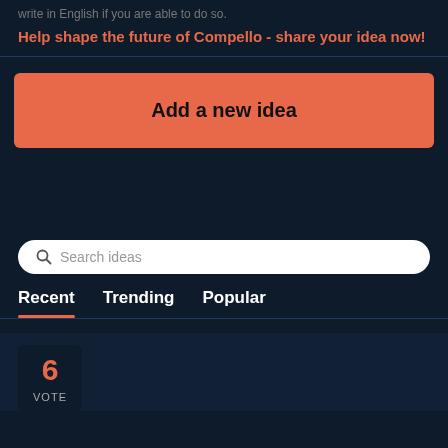write in English if you are able to do so.
Help shape the future of Compello - share your idea now!
Add a new idea
Search ideas
Recent
Trending
Popular
6
VOTE